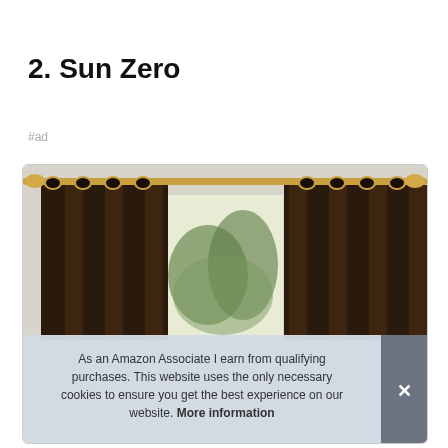2. Sun Zero
#ad
[Figure (photo): Dark brown blackout curtains hanging on a gold curtain rod in front of a window with trees visible outside]
As an Amazon Associate I earn from qualifying purchases. This website uses the only necessary cookies to ensure you get the best experience on our website. More information